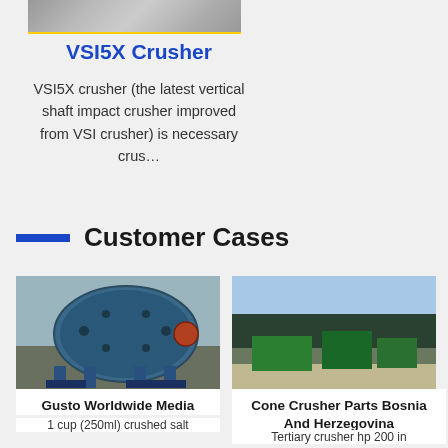[Figure (photo): Partial view of industrial machinery, cropped at top of page]
VSI5X Crusher
VSI5X crusher (the latest vertical shaft impact crusher improved from VSI crusher) is necessary crus…
Customer Cases
[Figure (photo): Blue ball mill industrial grinding machine on supports outdoors]
Gusto Worldwide Media
1 cup (250ml) crushed salt
[Figure (photo): Outdoor quarry site with green cone crusher equipment and rock pile]
Cone Crusher Parts Bosnia And Herzegovina
Tertiary crusher hp 200 in